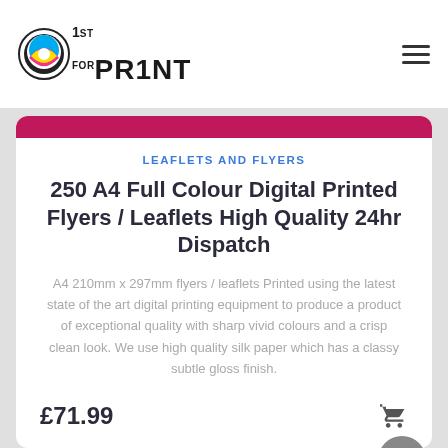1st For Print — navigation header with logo and hamburger menu
LEAFLETS AND FLYERS
250 A4 Full Colour Digital Printed Flyers / Leaflets High Quality 24hr Dispatch
A4 210mm x 297mm flyers / leaflets Printed using the latest state of the art digital printing equipment to produce a product of exceptional quality with sharp vivid colours and a crisp clean look. We use high quality silk paper which has a classy subtle gloss finish.
£71.99